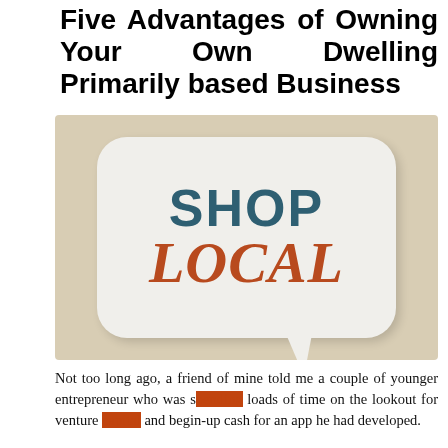Five Advantages of Owning Your Own Dwelling Primarily based Business
[Figure (illustration): A 'Shop Local' logo featuring a speech bubble with 'SHOP' in dark teal bold text and 'LOCAL' in rust/orange bold italic text, on a beige/tan textured background.]
Not too long ago, a friend of mine told me a couple of younger entrepreneur who was spending loads of time on the lookout for venture capital and begin-up cash for an app he had developed.